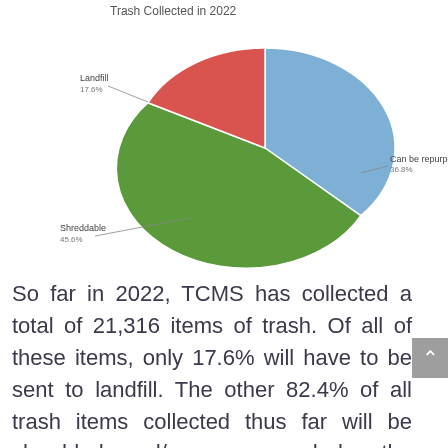Trash Collected in 2022
[Figure (pie-chart): Trash Collected in 2022]
So far in 2022, TCMS has collected a total of 21,316 items of trash. Of all of these items, only 17.6% will have to be sent to landfill. The other 82.4% of all trash items collected thus far will be shredded and/or repurposed by the station, preventing most of the collected